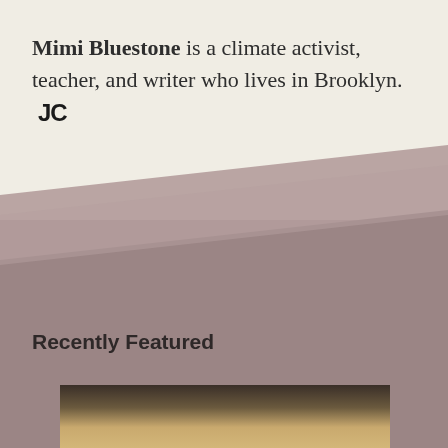Mimi Bluestone is a climate activist, teacher, and writer who lives in Brooklyn.  JC
Recently Featured
[Figure (photo): Partial photo of a person with blonde/light hair, dark background, cropped at bottom of page]